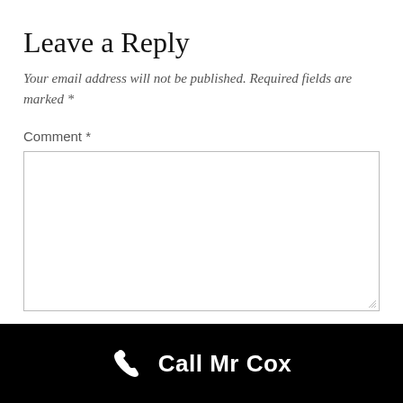Leave a Reply
Your email address will not be published. Required fields are marked *
Comment *
[Figure (other): Empty comment text area input box with resize handle]
Name
[Figure (other): Partial name input box visible at bottom]
Call Mr Cox